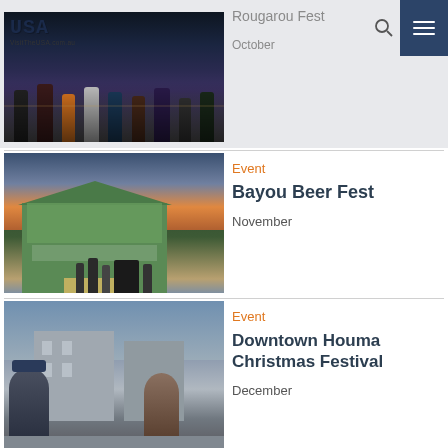[Figure (photo): Top section showing costumed figures at night parade (Rougarou Fest), with USA logo overlay and navigation header]
Rougarou Fest
October
[Figure (photo): Bayou Beer Fest event photo showing a green antebellum-style building at dusk with crowd]
Event
Bayou Beer Fest
November
[Figure (photo): Downtown Houma Christmas Festival photo showing street scene with people]
Event
Downtown Houma Christmas Festival
December